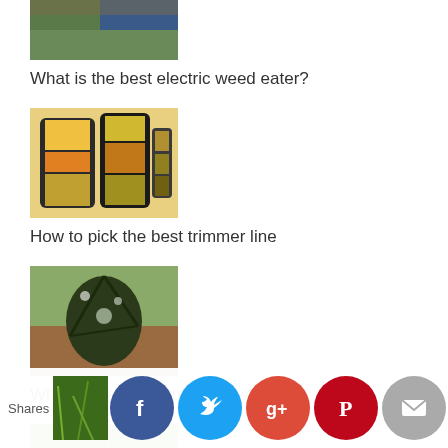[Figure (photo): Thumbnail image of an electric weed eater / garden tool]
What is the best electric weed eater?
[Figure (photo): Thumbnail image of trimmer line spools/containers]
How to pick the best trimmer line
[Figure (photo): Thumbnail image of a pruned shrub/tree]
What is the best pruning saw?
[Figure (photo): Thumbnail image of grass weeds]
An In-depth Look into Different Types of Grass Weeds
Shares | Social sharing icons: Facebook, Twitter, Google+, Pinterest, Mail, Crown